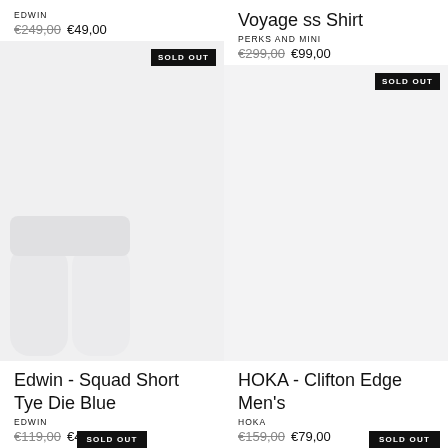EDWIN
€249,00  €49,00
Voyage ss Shirt
PERKS AND MINI
€299,00  €99,00
[Figure (photo): SOLD OUT badge on left product image area (light grey background, shorts visible)]
[Figure (photo): SOLD OUT badge on right product image area (light grey background, no image shown)]
Edwin - Squad Short Tye Die Blue
EDWIN
€119,00  €49,00
HOKA - Clifton Edge Men's
HOKA
€159,00  €79,00
SOLD OUT
SOLD OUT